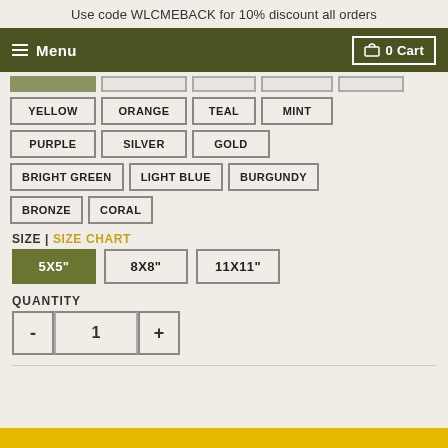Use code WLCMEBACK for 10% discount all orders
Menu  0 Cart
YELLOW, ORANGE, TEAL, MINT, PURPLE, SILVER, GOLD, BRIGHT GREEN, LIGHT BLUE, BURGUNDY, BRONZE, CORAL
SIZE | SIZE CHART
5X5"  8X8"  11X11"
QUANTITY
- 1 +